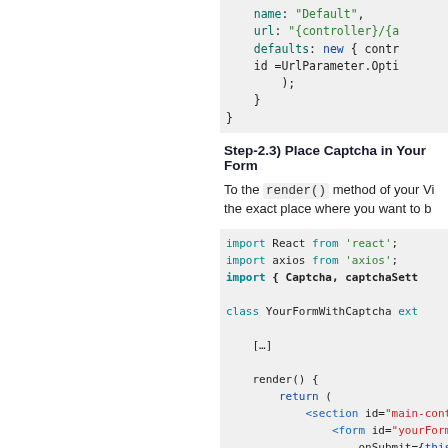[Figure (screenshot): Code snippet showing routing configuration with name, url, defaults, and id properties in a code block with light gray background]
Step-2.3) Place Captcha in Your Form
To the render() method of your Vi the exact place where you want to b
[Figure (screenshot): Code snippet showing React imports and class definition with captcha-related code including highlighted green lines for captcha challenge, Captcha component, and label tag]